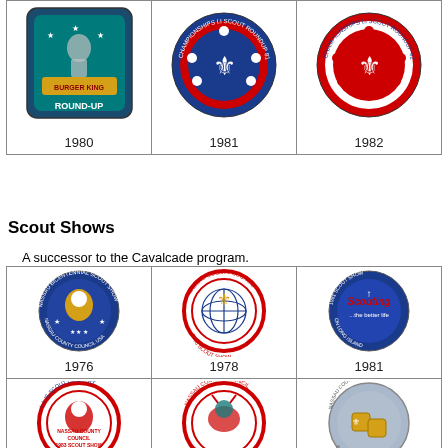[Figure (photo): Grid of three Boy Scout roundup patches for 1980, 1981, and 1982. 1980: Burger King Round-Up rectangular patch (teal/navy). 1981: LI Scout Roundup circular patch (blue with red fleur-de-lis). 1982: LI Scout Roundup circular patch (red with fleur-de-lis).]
Scout Shows
A successor to the Cavalcade program.
[Figure (photo): Grid of six Boy Scout show patches: 1976 Nassau Bicentennial Scout Show (blue circle), 1978 Nassau County Council Scout Show (globe/fleur-de-lis), 1981 Scout Show Scouting the Better Life on Long Island (blue circle), 1983 LI Is Scout Country Nassau County Council Scout Show (red circle), 1985 Nassau County Council Scout Show (red circle with deer), 1987 Scout Show patch (blue/gold square blocks).]